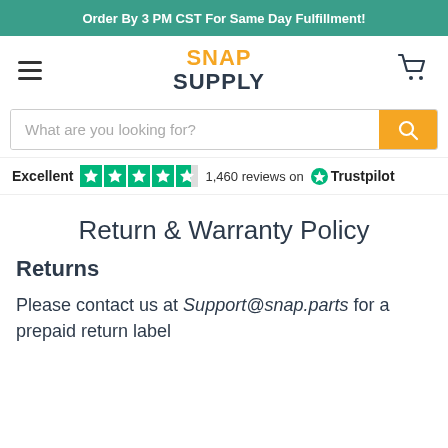Order By 3 PM CST For Same Day Fulfillment!
[Figure (logo): Snap Supply logo with hamburger menu and cart icon]
What are you looking for?
Excellent   1,460 reviews on Trustpilot
Return & Warranty Policy
Returns
Please contact us at Support@snap.parts for a prepaid return label